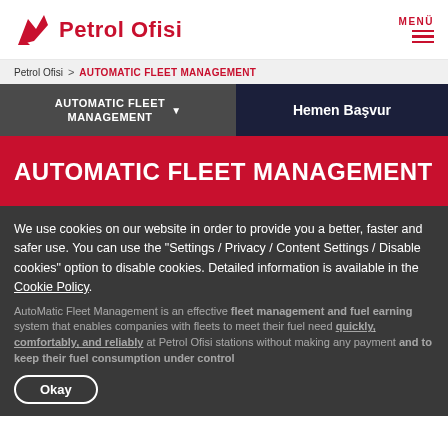[Figure (logo): Petrol Ofisi logo with red running dog icon and red bold text 'Petrol Ofisi']
MENÜ (hamburger menu icon)
Petrol Ofisi > AUTOMATIC FLEET MANAGEMENT
AUTOMATIC FLEET MANAGEMENT ▼
Hemen Başvur
AUTOMATIC FLEET MANAGEMENT
We use cookies on our website in order to provide you a better, faster and safer use. You can use the "Settings / Privacy / Content Settings / Disable cookies" option to disable cookies. Detailed information is available in the Cookie Policy.
Okay
AutoMatic Fleet Management is an effective fleet management and fuel earning system that enables companies with fleets to meet their fuel need quickly, comfortably, and reliably at Petrol Ofisi stations without making any payment and to keep their fuel consumption under control